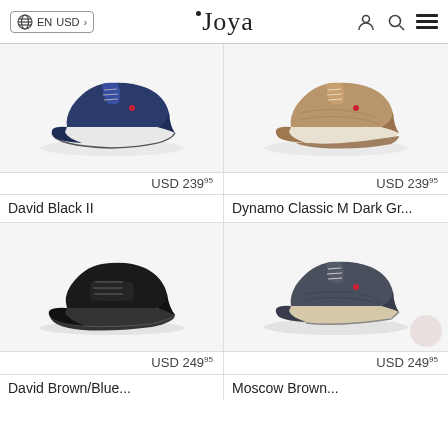EN USD — Joya
[Figure (photo): Navy blue Joya sneaker with white sole, side view]
USD 239⁹⁵
[Figure (photo): Tan/beige Joya sneaker with white sole, side view]
USD 239⁹⁵
David Black II
Dynamo Classic M Dark Gr...
[Figure (photo): Black Joya leather shoe with curved sole, side view]
USD 249⁹⁵
[Figure (photo): Dark grey Joya sneaker with beige sole, side view]
USD 249⁹⁵
David Brown/Blue...
Moscow Brown...